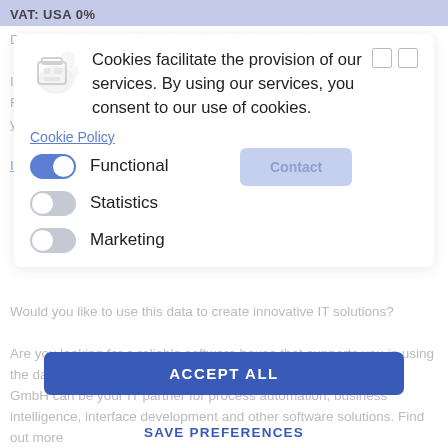VAT: USA 0%
[Figure (screenshot): Cookie consent overlay dialog with icon, cookie policy text, functional/statistics/marketing toggles, contact button, accept all button, and save preferences button]
Cookies facilitate the provision of our services. By using our services, you consent to our use of cookies.
Cookie Policy
Do you need more information about this dataset?
If you need more information about the dataset List of all lighthouses in France, please contact us and we will try to collect the missing data for you.
Impressum
Functional
Statistics
Marketing
Would you like to use this data to create innovative IT solutions?
Are you looking for a reliable software house that supports you in using the data in the process of creating individual IT solutions? Pumox GmbH can be your IT partner for process automation, business intelligence, interface development and other software solutions. Find out more
ACCEPT ALL
SAVE PREFERENCES